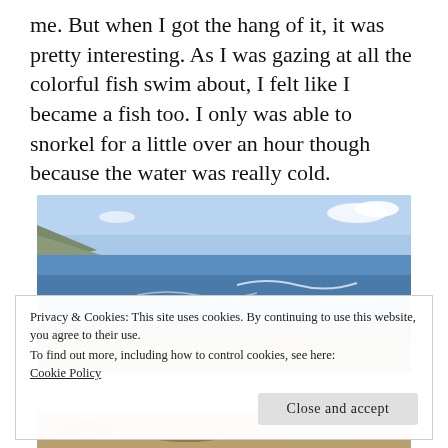me. But when I got the hang of it, it was pretty interesting. As I was gazing at all the colorful fish swim about, I felt like I became a fish too. I only was able to snorkel for a little over an hour though because the water was really cold.
[Figure (photo): Ocean shoreline photo showing rocky coast with blue water and sky]
Privacy & Cookies: This site uses cookies. By continuing to use this website, you agree to their use.
To find out more, including how to control cookies, see here: Cookie Policy
Close and accept
[Figure (photo): Partial photo at bottom of page showing sandy/rocky ground]